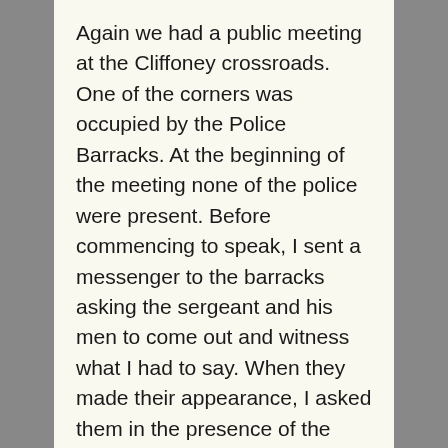Again we had a public meeting at the Cliffoney crossroads. One of the corners was occupied by the Police Barracks. At the beginning of the meeting none of the police were present. Before commencing to speak, I sent a messenger to the barracks asking the sergeant and his men to come out and witness what I had to say. When they made their appearance, I asked them in the presence of the people, to take down my exact words, so that they might be able to quote me correctly this time.
I then explained to the people what an injunction meant, and that anyone who